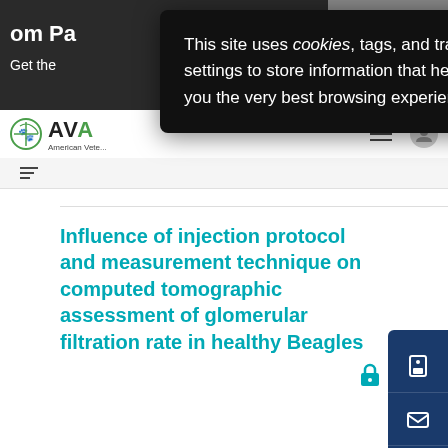[Figure (screenshot): Website screenshot showing a veterinary journal page (AVMA) with a cookie consent popup overlaid. The top area shows a dark banner with partial text 'om Pa' and 'Get the', an animal health advertisement image on the right. Below is a navigation bar with the AVMA logo. The main content area shows the beginning of an article title about injection protocol and computed tomographic assessment. A dark cookie notification popup appears in the upper center-right of the image.]
This site uses cookies, tags, and tracking settings to store information that help give you the very best browsing experience.
Influence of injection protocol and measurement technique on computed tomographic assessment of glomerular filtration rate in healthy Beagles